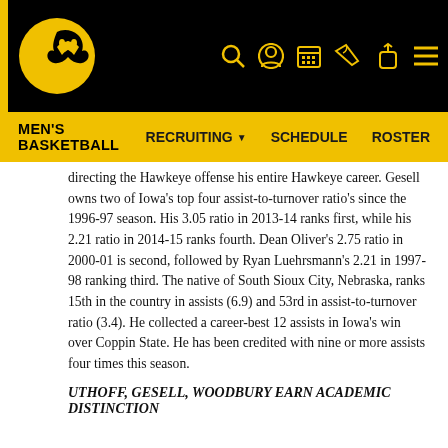MEN'S BASKETBALL  RECRUITING  SCHEDULE  ROSTER
directing the Hawkeye offense his entire Hawkeye career. Gesell owns two of Iowa's top four assist-to-turnover ratio's since the 1996-97 season. His 3.05 ratio in 2013-14 ranks first, while his 2.21 ratio in 2014-15 ranks fourth. Dean Oliver's 2.75 ratio in 2000-01 is second, followed by Ryan Luehrsmann's 2.21 in 1997-98 ranking third. The native of South Sioux City, Nebraska, ranks 15th in the country in assists (6.9) and 53rd in assist-to-turnover ratio (3.4). He collected a career-best 12 assists in Iowa's win over Coppin State. He has been credited with nine or more assists four times this season.
UTHOFF, GESELL, WOODBURY EARN ACADEMIC DISTINCTION